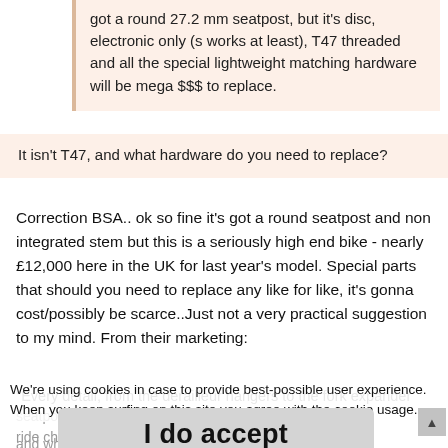got a round 27.2 mm seatpost, but it's disc, electronic only (s works at least), T47 threaded and all the special lightweight matching hardware will be mega $$$ to replace.
It isn't T47, and what hardware do you need to replace?
Correction BSA.. ok so fine it's got a round seatpost and non integrated stem but this is a seriously high end bike - nearly £12,000 here in the UK for last year's model. Special parts that should you need to replace any like for like, it's gonna cost/possibly be scarce..Just not a very practical suggestion to my mind. From their marketing:
"Every detail, from the derailleur hangers to the fork expander
We're using cookies in case to provide best-possible user experience. When you keep surfing on this site you agree with the cookie usage.
I do accept
seatpost and wheels, further saving weight and improving ride characteristics for a smooth, damped ride".
and why might you need to replace Specialized parts